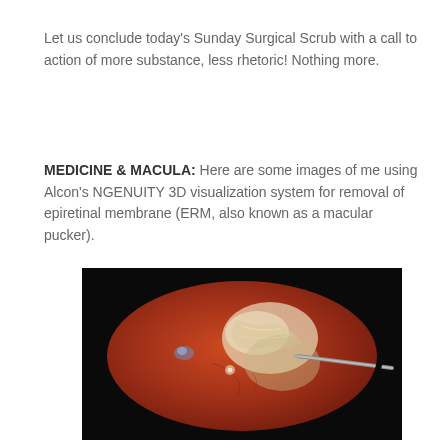Let us conclude today's Sunday Surgical Scrub with a call to action of more substance, less rhetoric! Nothing more.
MEDICINE & MACULA: Here are some images of me using Alcon's NGENUITY 3D visualization system for removal of epiretinal membrane (ERM, also known as a macular pucker).
[Figure (photo): Surgical intraoperative view of the retina (fundus) showing a reddish-orange globe with a whitish epiretinal membrane (ERM/macular pucker) partially peeled, with a surgical instrument (pick or forceps) visible at the right side. Image is captured through the NGENUITY 3D visualization system, with a black background surrounding the circular retinal view.]